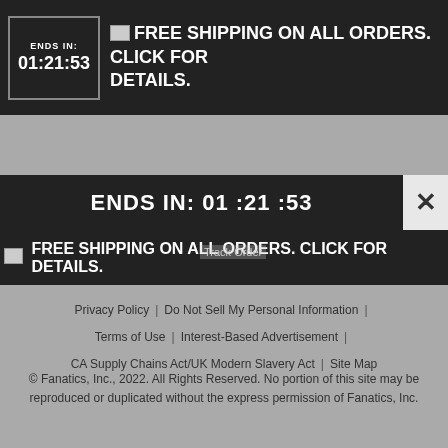[Figure (screenshot): Top black banner with 'ENDS IN: 01:21:53' countdown box on the left and broken image icon followed by 'FREE SHIPPING ON ALL ORDERS. CLICK FOR DETAILS.' text on the right in white bold text.]
ENDS IN: 01 :21 :53
FREE SHIPPING ON ALL ORDERS. CLICK FOR DETAILS.
Track Order
Privacy Policy  |  Do Not Sell My Personal Information  |  Terms of Use  |  Interest-Based Advertisement  |  CA Supply Chains Act/UK Modern Slavery Act  |  Site Map
© Fanatics, Inc., 2022. All Rights Reserved. No portion of this site may be reproduced or duplicated without the express permission of Fanatics, Inc.